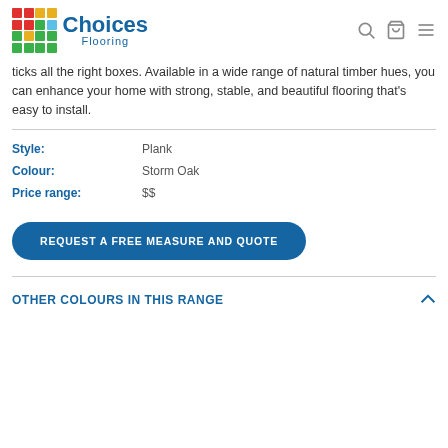[Figure (logo): Choices Flooring logo with colorful grid icon and blue text]
ticks all the right boxes. Available in a wide range of natural timber hues, you can enhance your home with strong, stable, and beautiful flooring that's easy to install.
| Style: | Plank |
| Colour: | Storm Oak |
| Price range: | $$ |
REQUEST A FREE MEASURE AND QUOTE
OTHER COLOURS IN THIS RANGE